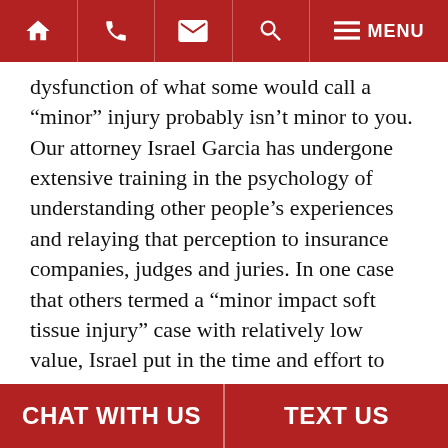Navigation bar with home, phone, email, search, and menu icons
dysfunction of what some would call a “minor” injury probably isn’t minor to you. Our attorney Israel Garcia has undergone extensive training in the psychology of understanding other people’s experiences and relaying that perception to insurance companies, judges and juries. In one case that others termed a “minor impact soft tissue injury” case with relatively low value, Israel put in the time and effort to understand what the victim was going through and relay that message to the jury. The result? A multi-million dollar verdict for his client.
Contact the Law Office of Israel Garcia Today
CHAT WITH US   TEXT US